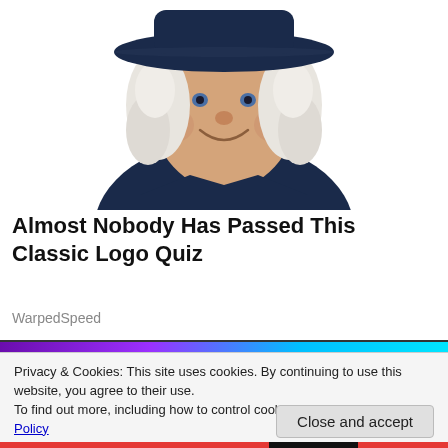[Figure (illustration): Illustrated portrait of the Quaker Oats man (a smiling, heavyset man with white curly hair and a wide-brimmed hat, wearing a dark navy colonial coat with a white cravat), cropped at chest level against a white background.]
Almost Nobody Has Passed This Classic Logo Quiz
WarpedSpeed
[Figure (screenshot): Partial banner/thumbnail strip showing colorful images in a row.]
Privacy & Cookies: This site uses cookies. By continuing to use this website, you agree to their use.
To find out more, including how to control cookies, see here: Cookie Policy
Close and accept